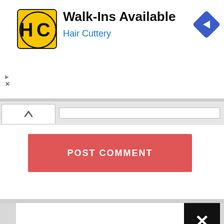[Figure (screenshot): Advertisement banner for Hair Cuttery showing logo, Walk-Ins Available text, and a navigation arrow icon]
[Figure (screenshot): POST COMMENT button in red/salmon color]
[Figure (screenshot): Black X close button overlay]
Dag
Reco
Chic
Reci
Adv